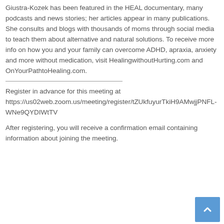Giustra-Kozek has been featured in the HEAL documentary, many podcasts and news stories; her articles appear in many publications. She consults and blogs with thousands of moms through social media to teach them about alternative and natural solutions. To receive more info on how you and your family can overcome ADHD, apraxia, anxiety and more without medication, visit HealingwithoutHurting.com and OnYourPathtoHealing.com.
Register in advance for this meeting at https://us02web.zoom.us/meeting/register/tZUkfuyurTkiH9AMwjjPNFL-WNe9QYDIWtTV
After registering, you will receive a confirmation email containing information about joining the meeting.